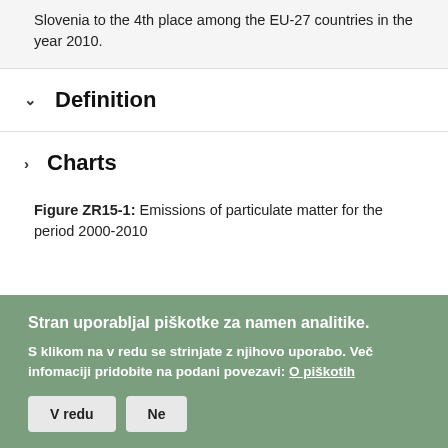Slovenia to the 4th place among the EU-27 countries in the year 2010.
Definition
Charts
Figure ZR15-1: Emissions of particulate matter for the period 2000-2010
Stran uporabljaI piškotke za namen analitike. S klikom na v redu se strinjate z njihovo uporabo. Več infomaciji pridobite na podani povezavi: O piškotih
V redu  Ne